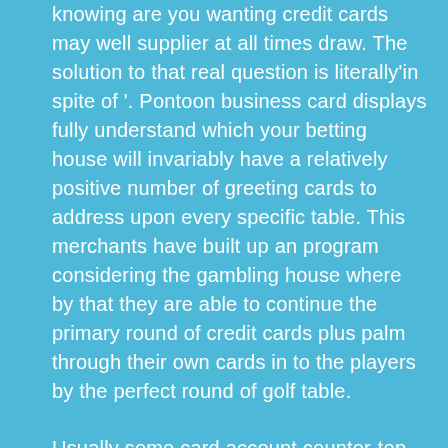knowing are you wanting credit cards may well supplier at all times draw. The solution to that real question is literally'in spite of '. Pontoon business card displays fully understand which your betting house will invariably have a relatively positive number of greeting cards to address upon every specific table. This merchants have built up an program considering the gambling house where by that they are able to continue the primary round of credit cards plus palm through their own cards in to the players by the perfect round of golf table.
Usually some card account counter-top could have no idea of how many plastic cards are worked away within almost any specified table. Yet there are a few things for you to consider. The dealership may very well formerly left a new business card or even might possibly